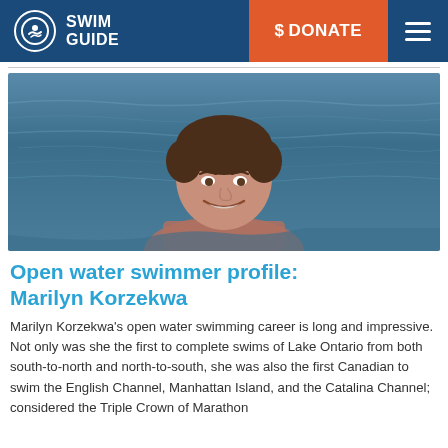SWIM GUIDE | $ DONATE
[Figure (photo): Photo of Marilyn Korzekwa smiling in open water, with blue rippling water/lake behind her.]
Open water swimmer profile: Marilyn Korzekwa
Marilyn Korzekwa's open water swimming career is long and impressive. Not only was she the first to complete swims of Lake Ontario from both south-to-north and north-to-south, she was also the first Canadian to swim the English Channel, Manhattan Island, and the Catalina Channel; considered the Triple Crown of Marathon